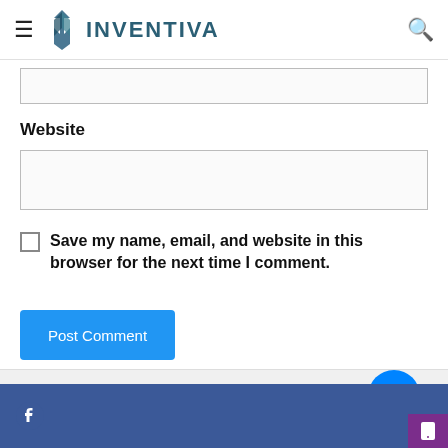INVENTIVA
Website
Save my name, email, and website in this browser for the next time I comment.
Post Comment
Working from home? Get your projects done on fiverr